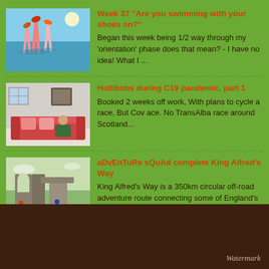Week 37 "Are you swimming with your shoes on?"
Began this week being 1/2 way through my 'orientation' phase does that mean? - I have no idea! What I ...
Hollibobs during C19 pandemic, part 1
Booked 2 weeks off work, With plans to cycle a race, But Cov ace. No TransAlba race around Scotland...
aDvEnTuRe sQuAd complete King Alfred's Way
King Alfred's Way is a 350km circular off-road adventure route connecting some of England's most iconic s...
Watermark